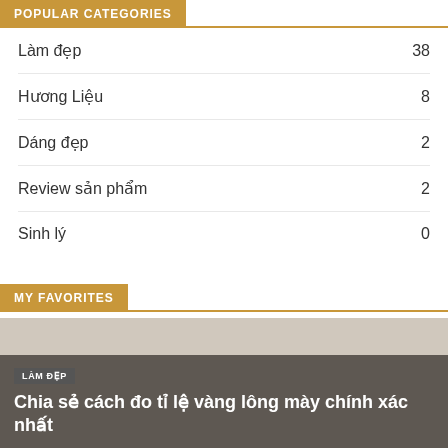POPULAR CATEGORIES
Làm đẹp 38
Hương Liệu 8
Dáng đẹp 2
Review sản phẩm 2
Sinh lý 0
MY FAVORITES
LÀM ĐẸP
Chia sẻ cách đo tỉ lệ vàng lông mày chính xác nhất